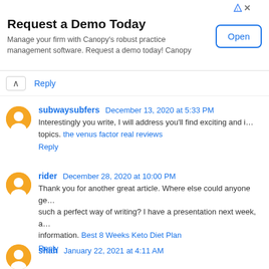[Figure (other): Advertisement banner for Canopy practice management software with 'Request a Demo Today' title, descriptive text, and an 'Open' button]
Reply
subwaysubfers December 13, 2020 at 5:33 PM
Interestingly you write, I will address you'll find exciting and interesting topics. the venus factor real reviews
Reply
rider December 28, 2020 at 10:00 PM
Thank you for another great article. Where else could anyone ge... such a perfect way of writing? I have a presentation next week, a... information. Best 8 Weeks Keto Diet Plan
Reply
shah January 22, 2021 at 4:11 AM